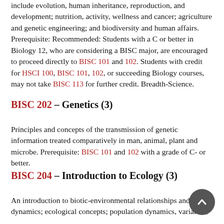include evolution, human inheritance, reproduction, and development; nutrition, activity, wellness and cancer; agriculture and genetic engineering; and biodiversity and human affairs. Prerequisite: Recommended: Students with a C or better in Biology 12, who are considering a BISC major, are encouraged to proceed directly to BISC 101 and 102. Students with credit for HSCI 100, BISC 101, 102, or succeeding Biology courses, may not take BISC 113 for further credit. Breadth-Science.
BISC 202 – Genetics (3)
Principles and concepts of the transmission of genetic information treated comparatively in man, animal, plant and microbe. Prerequisite: BISC 101 and 102 with a grade of C- or better.
BISC 204 – Introduction to Ecology (3)
An introduction to biotic-environmental relationships and dynamics; ecological concepts; population dynamics, variation,